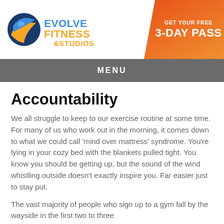EVOLVE FITNESS & STUDIOS — GET YOUR FREE 3-DAY PASS
MENU
Accountability
We all struggle to keep to our exercise routine at some time. For many of us who work out in the morning, it comes down to what we could call ‘mind over mattress’ syndrome. You’re lying in your cozy bed with the blankets pulled tight. You know you should be getting up, but the sound of the wind whistling outside doesn’t exactly inspire you. Far easier just to stay put.
The vast majority of people who sign up to a gym fall by the wayside in the first two to three